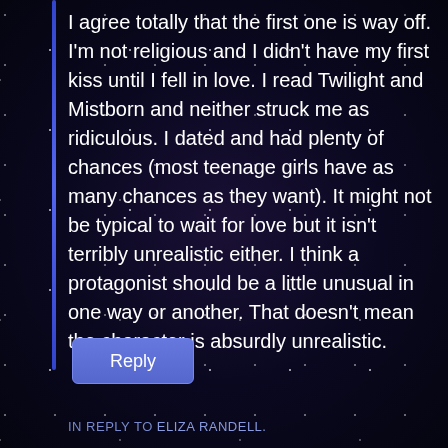I agree totally that the first one is way off. I'm not religious and I didn't have my first kiss until I fell in love. I read Twilight and Mistborn and neither struck me as ridiculous. I dated and had plenty of chances (most teenage girls have as many chances as they want). It might not be typical to wait for love but it isn't terribly unrealistic either. I think a protagonist should be a little unusual in one way or another. That doesn't mean the character is absurdly unrealistic.
Reply
IN REPLY TO ELIZA RANDELL.